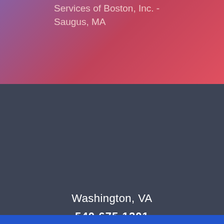Services of Boston, Inc. - Saugus, MA
Washington, VA
540.675.1201
[Figure (logo): mountain view MARKETING logo with tagline 'helping you reach new heights']
helping you reach new heights